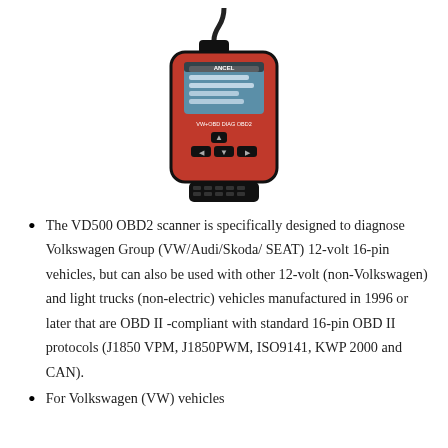[Figure (photo): ANCEL VD500 OBD2 scanner — a red and black handheld diagnostic tool with a small screen showing menu options and an OBD2 connector cable attached at the top]
The VD500 OBD2 scanner is specifically designed to diagnose Volkswagen Group (VW/Audi/Skoda/ SEAT) 12-volt 16-pin vehicles, but can also be used with other 12-volt (non-Volkswagen) and light trucks (non-electric) vehicles manufactured in 1996 or later that are OBD II -compliant with standard 16-pin OBD II protocols (J1850 VPM, J1850PWM, ISO9141, KWP 2000 and CAN).
For Volkswagen (VW) vehicles...